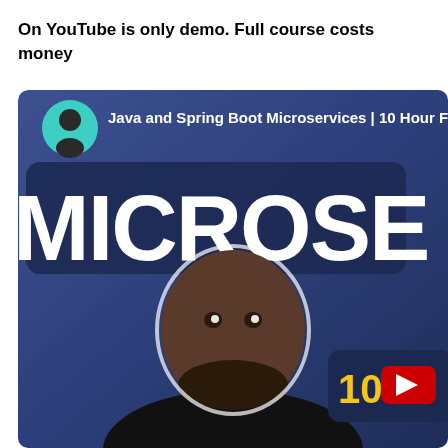On YouTube is only demo. Full course costs money
[Figure (screenshot): YouTube video thumbnail for 'Java and Spring Boot Microservices | 10 Hour Full Course' showing a man in front of large MICROSERVICES text on a dark blue background, with a YouTube play button badge showing '10' hours]